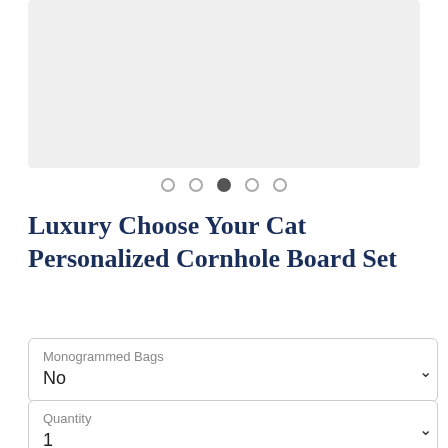[Figure (photo): Product image carousel area showing a light gray placeholder/background for a cornhole board set product photo]
● ○ ○ ○ ○ (carousel navigation dots, third dot active)
Luxury Choose Your Cat Personalized Cornhole Board Set
Monogrammed Bags
No
Quantity
1